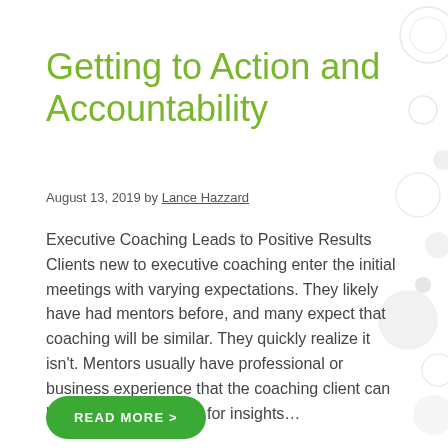Getting to Action and Accountability
August 13, 2019 by Lance Hazzard
Executive Coaching Leads to Positive Results Clients new to executive coaching enter the initial meetings with varying expectations. They likely have had mentors before, and many expect that coaching will be similar. They quickly realize it isn't. Mentors usually have professional or business experience that the coaching client can benefit from by asking for insights…
READ MORE >